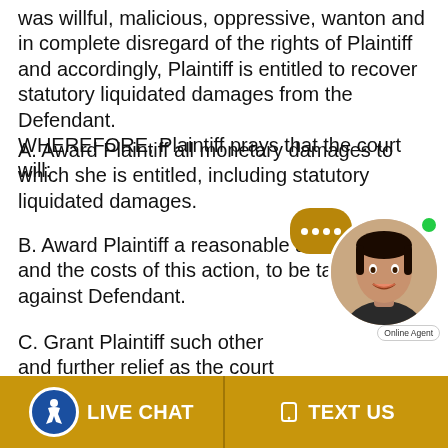was willful, malicious, oppressive, wanton and in complete disregard of the rights of Plaintiff and accordingly, Plaintiff is entitled to recover statutory liquidated damages from the Defendant. WHEREFORE, Plaintiff prays that the court will:
A. Award Plaintiff all monetary damages to which she is entitled, including statutory liquidated damages.
B. Award Plaintiff a reasonable attorney's fee and the costs of this action, to be taxed against Defendant.
C. Grant Plaintiff such other and further relief as the court may deem just and proper.
DEMAND FOR JURY TRIAL
Plaintiff demands a jury trial on all issues herein triable by jury.
[Figure (other): Live chat widget with agent photo, chat bubble icon, green online dot, and 'Online Agent' label]
LIVE CHAT   TEXT US